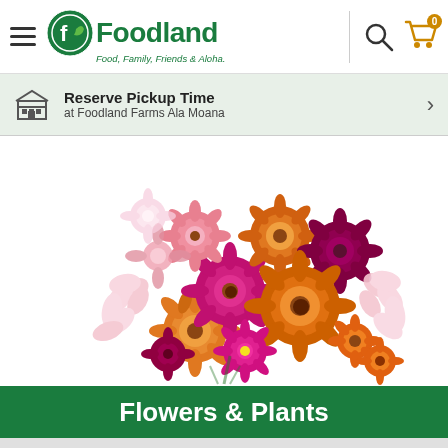Foodland — Food, Family, Friends & Aloha.
Reserve Pickup Time at Foodland Farms Ala Moana
[Figure (photo): A colorful bouquet of mixed flowers including pink, orange, magenta, and peach chrysanthemums and daisy-like flowers with yellow centers, along with white and pink alstroemeria, arranged in a dense round bunch against a white background.]
Flowers & Plants